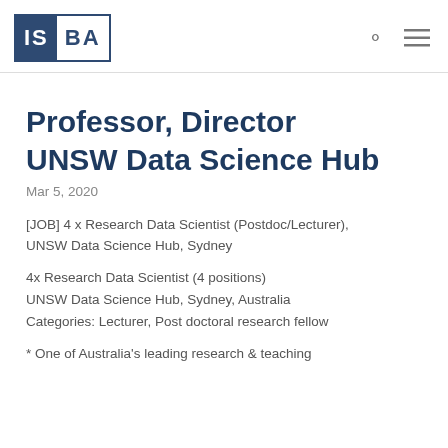ISBA
Professor, Director UNSW Data Science Hub
Mar 5, 2020
[JOB] 4 x Research Data Scientist (Postdoc/Lecturer), UNSW Data Science Hub, Sydney
4x Research Data Scientist (4 positions)
UNSW Data Science Hub, Sydney, Australia
Categories: Lecturer, Post doctoral research fellow
* One of Australia's leading research & teaching